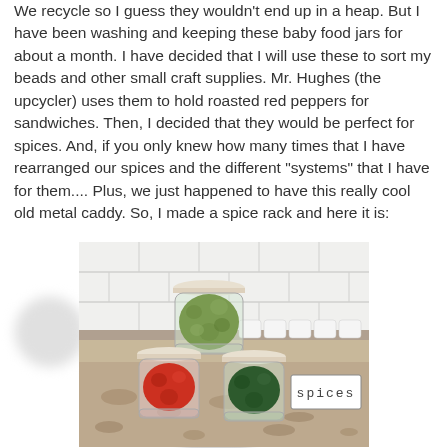We recycle so I guess they wouldn't end up in a heap. But I have been washing and keeping these baby food jars for about a month. I have decided that I will use these to sort my beads and other small craft supplies. Mr. Hughes (the upcycler) uses them to hold roasted red peppers for sandwiches. Then, I decided that they would be perfect for spices. And, if you only knew how many times that I have rearranged our spices and the different "systems" that I have for them.... Plus, we just happened to have this really cool old metal caddy. So, I made a spice rack and here it is:
[Figure (photo): Photo of three baby food glass jars with white lids arranged as a spice rack on a granite countertop in front of a white subway tile backsplash. One jar on top contains green herbs, two jars below contain red spice (left) and green spice (right). A white label card reading 'spices' in typewriter font sits to the right of the bottom two jars. More jars with white lids are visible in the background.]